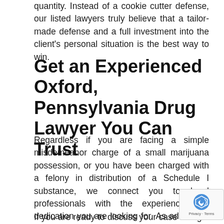quantity. Instead of a cookie cutter defense, our listed lawyers truly believe that a tailor-made defense and a full investment into the client's personal situation is the best way to win.
Get an Experienced Oxford, Pennsylvania Drug Lawyer You Can Trust
Regardless if you are facing a simple misdemeanor charge of a small marijuana possession, or you have been charged with a felony in distribution of a Schedule I substance, we connect you to legal professionals with the experience and dedication you are looking for. As advocates of justice, our listed lawyers are dedicated to freeing people who have fallen victim to rights violations and wrongful convictions.
If you are ready to discuss your case and get on the path